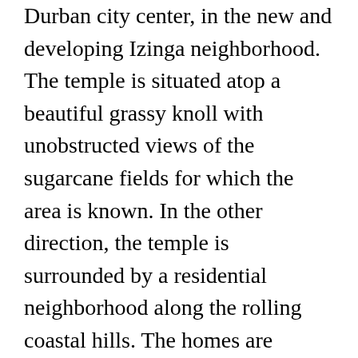Durban city center, in the new and developing Izinga neighborhood. The temple is situated atop a beautiful grassy knoll with unobstructed views of the sugarcane fields for which the area is known. In the other direction, the temple is surrounded by a residential neighborhood along the rolling coastal hills. The homes are characterized by earthy colors, red clay tile roofs, and wood and stone accents.
Temple Design
The temple design was inspired by the buildings of downtown Durban. The corners of the building and tower